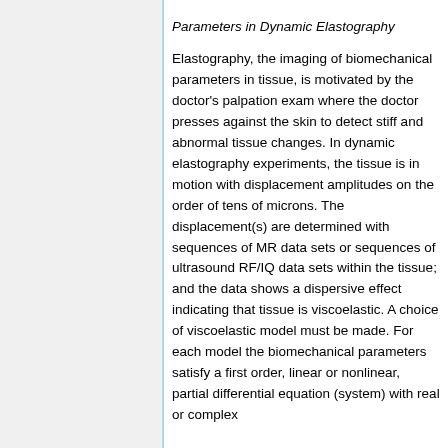Parameters in Dynamic Elastography
Elastography, the imaging of biomechanical parameters in tissue, is motivated by the doctor's palpation exam where the doctor presses against the skin to detect stiff and abnormal tissue changes. In dynamic elastography experiments, the tissue is in motion with displacement amplitudes on the order of tens of microns. The displacement(s) are determined with sequences of MR data sets or sequences of ultrasound RF/IQ data sets within the tissue; and the data shows a dispersive effect indicating that tissue is viscoelastic. A choice of viscoelastic model must be made. For each model the biomechanical parameters satisfy a first order, linear or nonlinear, partial differential equation (system) with real or complex